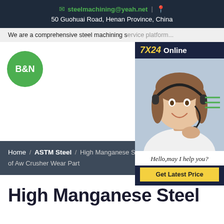steelmachining@yeah.net | 50 Guohuai Road, Henan Province, China
We are a comprehensive steel machining s...
[Figure (logo): B&N green circular logo]
[Figure (photo): Customer service representative with headset, 7X24 Online popup widget with Hello, may I help you? and Get Latest Price button]
Home / ASTM Steel / High Manganese St... of Aw Crusher Wear Part
High Manganese Steel